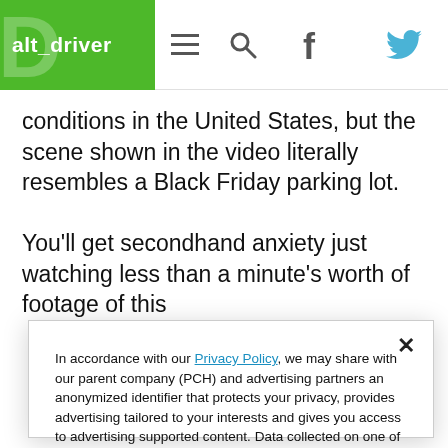alt_driver
conditions in the United States, but the scene shown in the video literally resembles a Black Friday parking lot.

You'll get secondhand anxiety just watching less than a minute's worth of footage of this
In accordance with our Privacy Policy, we may share with our parent company (PCH) and advertising partners an anonymized identifier that protects your privacy, provides advertising tailored to your interests and gives you access to advertising supported content. Data collected on one of our sites may be used on our other owned and operated sites, which sites are identified in our Privacy Policy. All of our sites are governed by the same Privacy Policy, and by proceeding to access this site, you are consenting to that Privacy Policy.